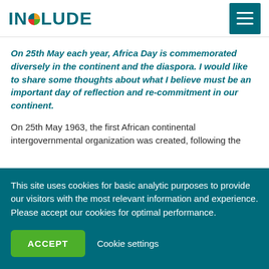INCLUDE
On 25th May each year, Africa Day is commemorated diversely in the continent and the diaspora. I would like to share some thoughts about what I believe must be an important day of reflection and re-commitment in our continent.
On 25th May 1963, the first African continental intergovernmental organization was created, following the
This site uses cookies for basic analytic purposes to provide our visitors with the most relevant information and experience. Please accept our cookies for optimal performance.
ACCEPT   Cookie settings